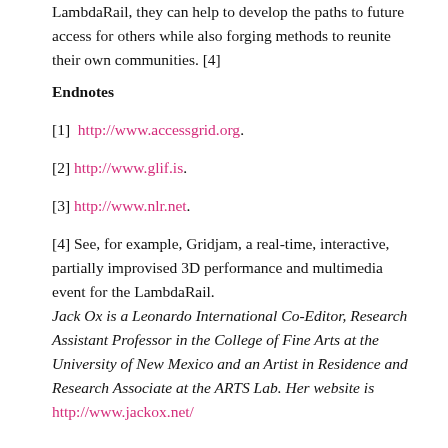LambdaRail, they can help to develop the paths to future access for others while also forging methods to reunite their own communities. [4]
Endnotes
[1]  http://www.accessgrid.org.
[2] http://www.glif.is.
[3] http://www.nlr.net.
[4] See, for example, Gridjam, a real-time, interactive, partially improvised 3D performance and multimedia event for the LambdaRail.
Jack Ox is a Leonardo International Co-Editor, Research Assistant Professor in the College of Fine Arts at the University of New Mexico and an Artist in Residence and Research Associate at the ARTS Lab. Her website is http://www.jackox.net/